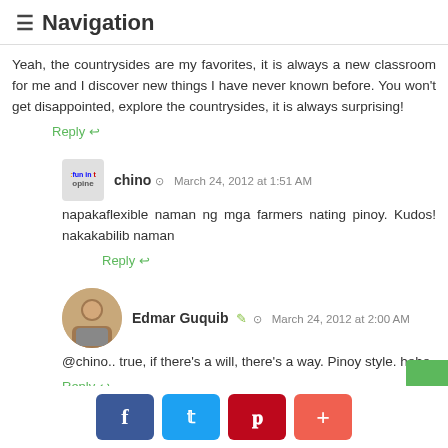≡ Navigation
Yeah, the countrysides are my favorites, it is always a new classroom for me and I discover new things I have never known before. You won't get disappointed, explore the countrysides, it is always surprising!
Reply
chino  March 24, 2012 at 1:51 AM
napakaflexible naman ng mga farmers nating pinoy. Kudos! nakakabilib naman
Reply
Edmar Guquib  March 24, 2012 at 2:00 AM
@chino.. true, if there's a will, there's a way. Pinoy style. hehe.
Reply